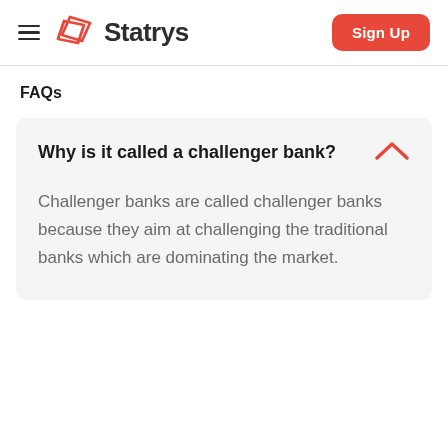[Figure (logo): Statrys logo with hamburger menu icon on the left and a red Sign Up button on the right]
FAQs
Why is it called a challenger bank?
Challenger banks are called challenger banks because they aim at challenging the traditional banks which are dominating the market.